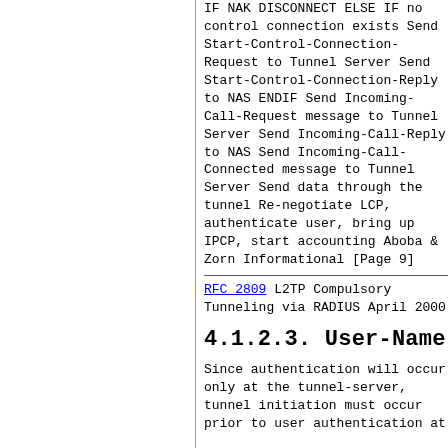IF NAK DISCONNECT ELSE IF no control connection exists Send Start-Control-Connection-Request to Tunnel Server Send Start-Control-Connection-Reply to NAS ENDIF Send Incoming-Call-Request message to Tunnel Server Send Incoming-Call-Reply to NAS Send Incoming-Call-Connected message to Tunnel Server Send data through the tunnel Re-negotiate LCP, authenticate user, bring up IPCP, start accounting Aboba & Zorn Informational [Page 9]
RFC 2809 L2TP Compulsory Tunneling via RADIUS April 2000
4.1.2.3. User-Name
Since authentication will occur only at the tunnel-server, tunnel initiation must occur prior to user authentication at